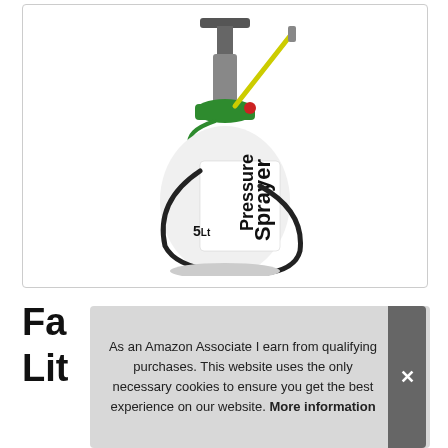[Figure (photo): A white 5-litre pressure sprayer with green pump top, yellow wand, green coiled hose, black shoulder strap, and 'Pressure Sprayer' text printed on the tank body.]
Fa
Lit
As an Amazon Associate I earn from qualifying purchases. This website uses the only necessary cookies to ensure you get the best experience on our website. More information